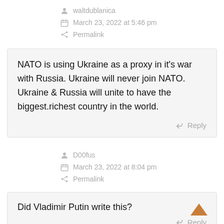waltdublanica
March 23, 2022 at 5:46 pm
Permalink
NATO is using Ukraine as a proxy in it's war with Russia. Ukraine will never join NATO. Ukraine & Russia will unite to have the biggest.richest country in the world.
Reply
D00fus
March 23, 2022 at 8:04 pm
Permalink
Did Vladimir Putin write this?
Reply